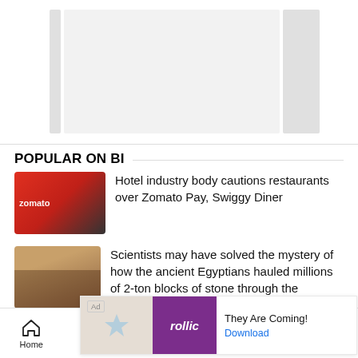[Figure (screenshot): Partially visible top image area with gray bars on white background]
POPULAR ON BI
[Figure (photo): Thumbnail of Zomato branded red signage]
Hotel industry body cautions restaurants over Zomato Pay, Swiggy Diner
[Figure (photo): Thumbnail of people in desert/Egypt scene]
Scientists may have solved the mystery of how the ancient Egyptians hauled millions of 2-ton blocks of stone through the
[Figure (screenshot): Ad overlay: rollic game ad - They Are Coming! with Download button]
Home  Notifications  Newsletters  Next  Share